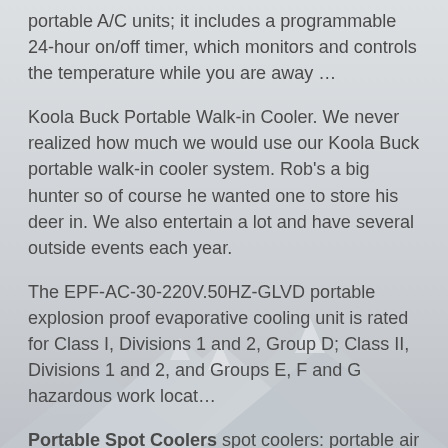portable A/C units; it includes a programmable 24-hour on/off timer, which monitors and controls the temperature while you are away …
Koola Buck Portable Walk-in Cooler. We never realized how much we would use our Koola Buck portable walk-in cooler system. Rob's a big hunter so of course he wanted one to store his deer in. We also entertain a lot and have several outside events each year.
The EPF-AC-30-220V.50HZ-GLVD portable explosion proof evaporative cooling unit is rated for Class I, Divisions 1 and 2, Group D; Class II, Divisions 1 and 2, and Groups E, F and G hazardous work locat…
Portable Spot Coolers spot coolers: portable air cooled air conditioners for cooling applications for large or small, short or long term solutions – quickly
[Figure (illustration): Mountain peaks silhouette in light grey tones at the bottom of the page]